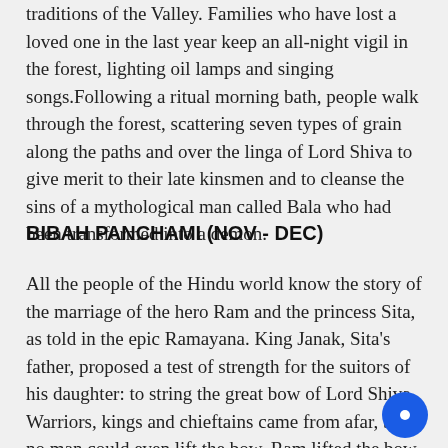traditions of the Valley. Families who have lost a loved one in the last year keep an all-night vigil in the forest, lighting oil lamps and singing songs.Following a ritual morning bath, people walk through the forest, scattering seven types of grain along the paths and over the linga of Lord Shiva to give merit to their late kinsmen and to cleanse the sins of a mythological man called Bala who had been transformed into a demon.
BIBAH PANCHAMI (NOV - DEC)
All the people of the Hindu world know the story of the marriage of the hero Ram and the princess Sita, as told in the epic Ramayana. King Janak, Sita's father, proposed a test of strength for the suitors of his daughter: to string the great bow of Lord Shiva. Warriors, kings and chieftains came from afar, but no man could even lift the bow. Ram lifted the bow with ease and when he tried to string it, the bow shat- tered into pieces. Ram and Sita were married in Janakpur, now in southern Nepal, and their marriage is celebrated to this day. Each year, idols of Ram and